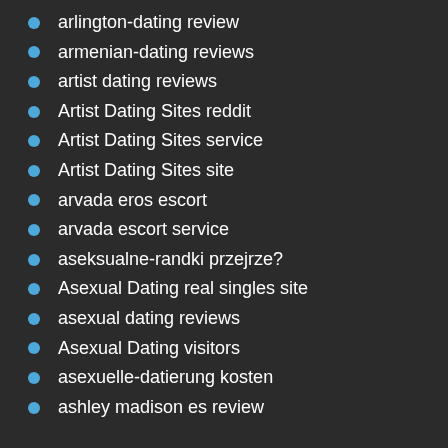arlington-dating review
armenian-dating reviews
artist dating reviews
Artist Dating Sites reddit
Artist Dating Sites service
Artist Dating Sites site
arvada eros escort
arvada escort service
aseksualne-randki przejrze?
Asexual Dating real singles site
asexual dating reviews
Asexual Dating visitors
asexuelle-datierung kosten
ashley madison es review